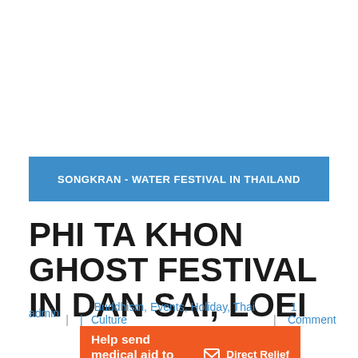SONGKRAN - WATER FESTIVAL IN THAILAND
PHI TA KHON GHOST FESTIVAL IN DAN SAI, LOEI
admin  |   |  Buddhism, Events, Holiday, Thai Culture  |  1 Comment
[Figure (infographic): Orange Direct Relief advertisement banner: 'Help send medical aid to Ukraine >>' with Direct Relief logo on right]